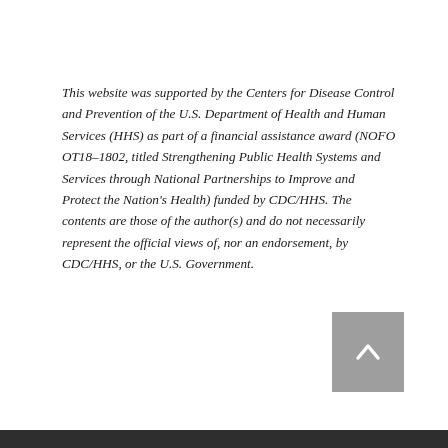This website was supported by the Centers for Disease Control and Prevention of the U.S. Department of Health and Human Services (HHS) as part of a financial assistance award (NOFO OT18–1802, titled Strengthening Public Health Systems and Services through National Partnerships to Improve and Protect the Nation's Health) funded by CDC/HHS. The contents are those of the author(s) and do not necessarily represent the official views of, nor an endorsement, by CDC/HHS, or the U.S. Government.
[Figure (other): Gray square scroll-to-top button with an upward-pointing chevron/arrow icon in white]